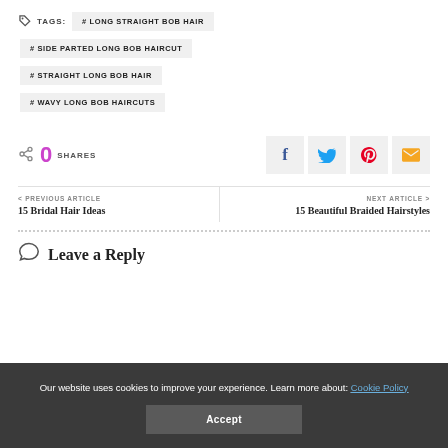# LONG STRAIGHT BOB HAIR
# SIDE PARTED LONG BOB HAIRCUT
# STRAIGHT LONG BOB HAIR
# WAVY LONG BOB HAIRCUTS
0 SHARES
< PREVIOUS ARTICLE
15 Bridal Hair Ideas
NEXT ARTICLE >
15 Beautiful Braided Hairstyles
Leave a Reply
Our website uses cookies to improve your experience. Learn more about: Cookie Policy
Accept